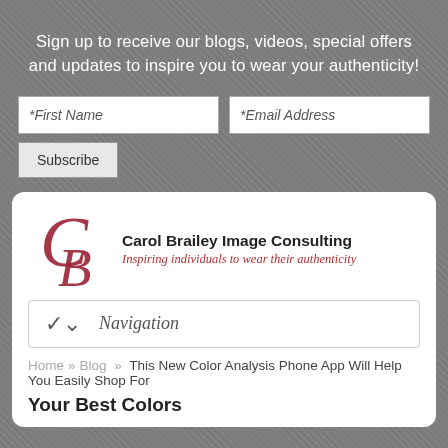Sign up to receive our blogs, videos, special offers and updates to inspire you to wear your authenticity!
[Figure (screenshot): Form with *First Name and *Email Address input fields and a Subscribe button]
[Figure (logo): Carol Brailey CB cursive logo in dark red]
Carol Brailey Image Consulting
Inspiring individuals to wear their authenticity
Navigation
Home » Blog » This New Color Analysis Phone App Will Help You Easily Shop For Your Best Colors